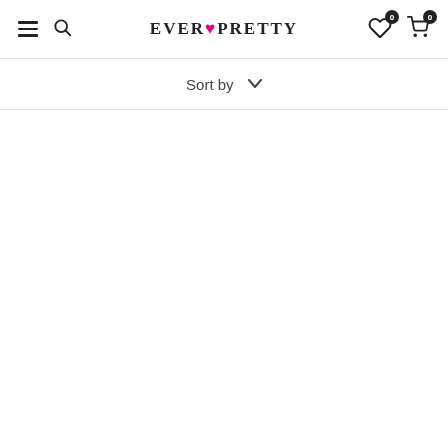EVER♥PRETTY — navigation header with hamburger menu, search, wishlist (0), cart (0)
Sort by ∨
[Figure (other): Empty white content area below sort bar]